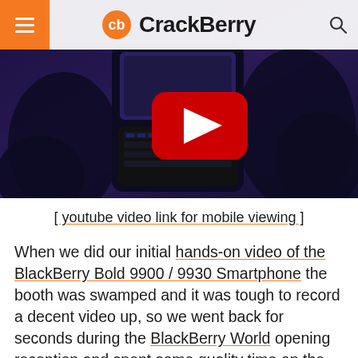CrackBerry
[Figure (screenshot): Video thumbnail showing hands holding a BlackBerry Bold smartphone with a YouTube play button overlay on a dark background]
[ youtube video link for mobile viewing ]
When we did our initial hands-on video of the BlackBerry Bold 9900 / 9930 Smartphone the booth was swamped and it was tough to record a decent video up, so we went back for seconds during the BlackBerry World opening reception and spent some quality time on the device. After getting a quick demo of NFC on the Bold 9930 and firing up a web browser